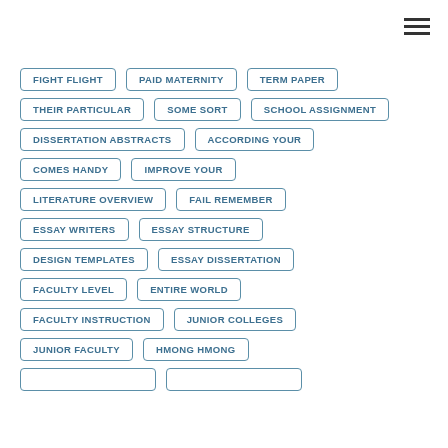FIGHT FLIGHT
PAID MATERNITY
TERM PAPER
THEIR PARTICULAR
SOME SORT
SCHOOL ASSIGNMENT
DISSERTATION ABSTRACTS
ACCORDING YOUR
COMES HANDY
IMPROVE YOUR
LITERATURE OVERVIEW
FAIL REMEMBER
ESSAY WRITERS
ESSAY STRUCTURE
DESIGN TEMPLATES
ESSAY DISSERTATION
FACULTY LEVEL
ENTIRE WORLD
FACULTY INSTRUCTION
JUNIOR COLLEGES
JUNIOR FACULTY
HMONG HMONG